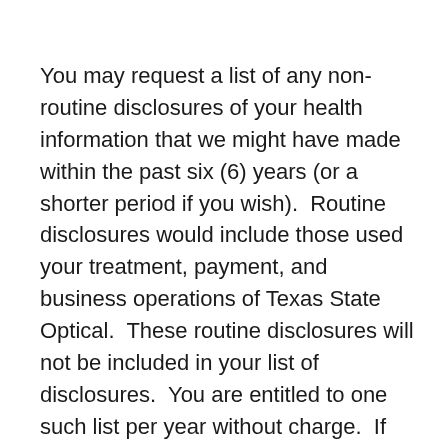You may request a list of any non-routine disclosures of your health information that we might have made within the past six (6) years (or a shorter period if you wish).  Routine disclosures would include those used your treatment, payment, and business operations of Texas State Optical.  These routine disclosures will not be included in your list of disclosures.  You are entitled to one such list per year without charge.  If you want more frequent lists, you must pay for them in advance at a fee of $0.00 per list.  We will usually respond to your written request (made to the Privacy Officer named at the beginning of this Notice) within thirty (30) days but we are allowed one thirty (30) day extension if we need the time to complete your